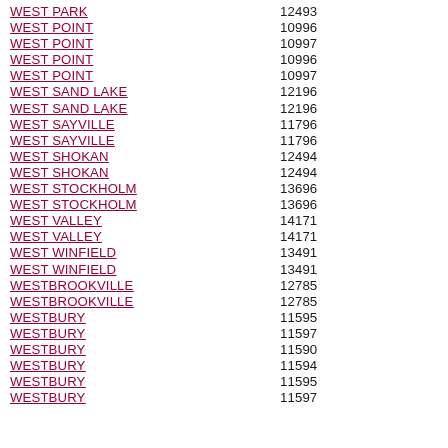| Place Name | ZIP Code |
| --- | --- |
| WEST PARK | 12493 |
| WEST POINT | 10996 |
| WEST POINT | 10997 |
| WEST POINT | 10996 |
| WEST POINT | 10997 |
| WEST SAND LAKE | 12196 |
| WEST SAND LAKE | 12196 |
| WEST SAYVILLE | 11796 |
| WEST SAYVILLE | 11796 |
| WEST SHOKAN | 12494 |
| WEST SHOKAN | 12494 |
| WEST STOCKHOLM | 13696 |
| WEST STOCKHOLM | 13696 |
| WEST VALLEY | 14171 |
| WEST VALLEY | 14171 |
| WEST WINFIELD | 13491 |
| WEST WINFIELD | 13491 |
| WESTBROOKVILLE | 12785 |
| WESTBROOKVILLE | 12785 |
| WESTBURY | 11595 |
| WESTBURY | 11597 |
| WESTBURY | 11590 |
| WESTBURY | 11594 |
| WESTBURY | 11595 |
| WESTBURY | 11597 |